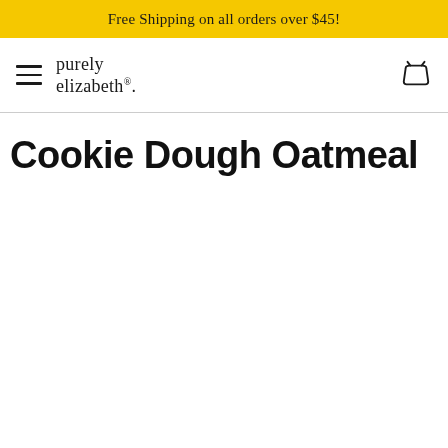Free Shipping on all orders over $45!
[Figure (logo): purely elizabeth. brand logo with hamburger menu icon and shopping basket icon]
Cookie Dough Oatmeal